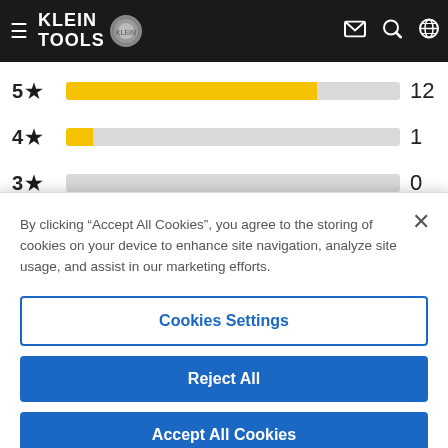Klein Tools navigation bar with logo, hamburger menu, mail icon, search icon, globe icon
[Figure (bar-chart): Star rating distribution]
By clicking “Accept All Cookies”, you agree to the storing of cookies on your device to enhance site navigation, analyze site usage, and assist in our marketing efforts.
Cookies Settings
Reject All
Accept All Cookies